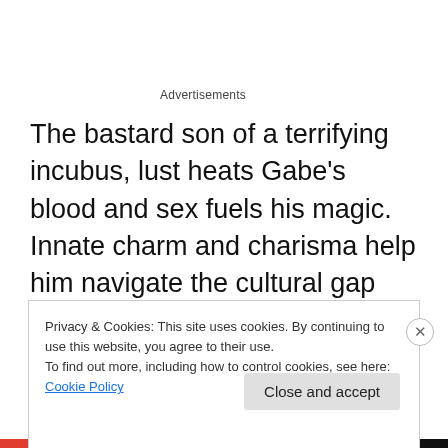Advertisements
The bastard son of a terrifying incubus, lust heats Gabe’s blood and sex fuels his magic. Innate charm and charisma help him navigate the cultural gap between the outcast town he calls home and the human settlements he infiltrates for trade. His latest mission nets him an unexpected asset–a summoner strong enough to soothe his darkest needs.
Privacy & Cookies: This site uses cookies. By continuing to use this website, you agree to their use.
To find out more, including how to control cookies, see here: Cookie Policy
Close and accept